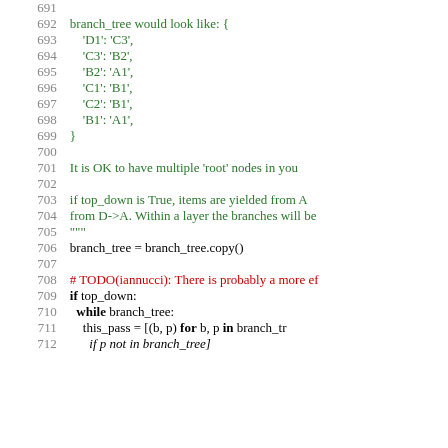Code listing lines 691-712, Python source code showing branch_tree dictionary and traversal logic